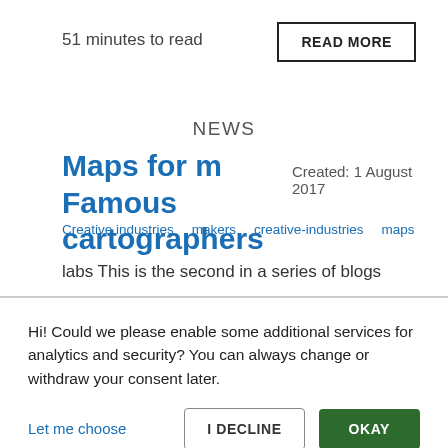51 minutes to read
READ MORE
NEWS
Maps for m Famous cartographers
Created: 1 August 2017
Creative industries
makers
creative-industries
maps
labs This is the second in a series of blogs
Hi! Could we please enable some additional services for analytics and security? You can always change or withdraw your consent later.
Let me choose
I DECLINE
OKAY